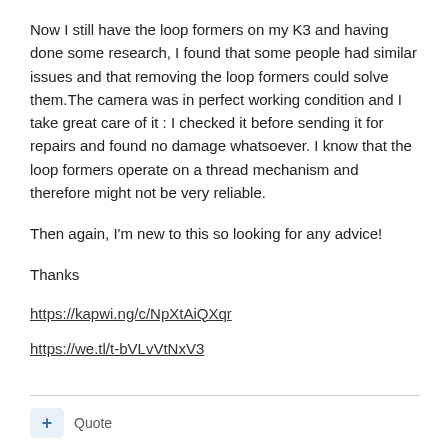Now I still have the loop formers on my K3 and having done some research, I found that some people had similar issues and that removing the loop formers could solve them.The camera was in perfect working condition and I take great care of it : I checked it before sending it for repairs and found no damage whatsoever. I know that the loop formers operate on a thread mechanism and therefore might not be very reliable.
Then again, I'm new to this so looking for any advice!
Thanks
https://kapwi.ng/c/NpXtAiQXqr
https://we.tl/t-bVLvVtNxV3
+ Quote